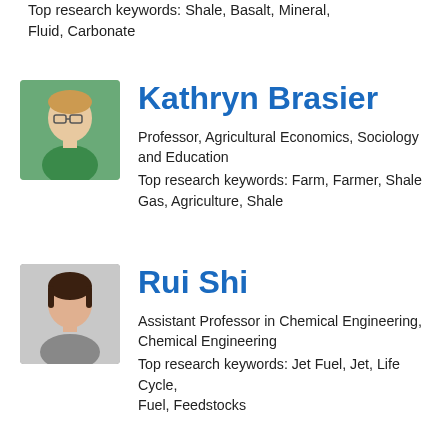Top research keywords: Shale, Basalt, Mineral, Fluid, Carbonate
[Figure (photo): Portrait photo of Kathryn Brasier, a woman with glasses and a green top, outdoors]
Kathryn Brasier
Professor, Agricultural Economics, Sociology and Education
Top research keywords: Farm, Farmer, Shale Gas, Agriculture, Shale
[Figure (photo): Portrait photo of Rui Shi, a woman with dark brown hair, wearing a gray jacket]
Rui Shi
Assistant Professor in Chemical Engineering, Chemical Engineering
Top research keywords: Jet Fuel, Jet, Life Cycle, Fuel, Feedstocks